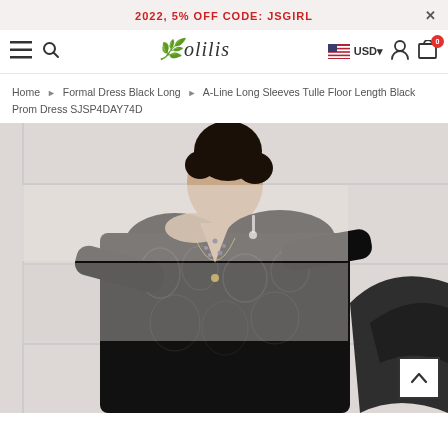2022, 5% OFF CODE: JSGIRL
[Figure (screenshot): Solilis e-commerce website navigation bar with hamburger menu, search icon, Solilis logo, USD currency selector with US flag, user account icon, and cart icon with 0 badge]
Home › Formal Dress Black Long › A-Line Long Sleeves Tulle Floor Length Black Prom Dress SJSP4DAY74D
[Figure (photo): A woman wearing a black lace A-line long sleeve prom dress with deep V-neckline and beaded embellishments, photographed from the back/side showing the sheer lace back, with her hair in an updo, against a white background. Also visible is a black tulle skirt on the right side.]